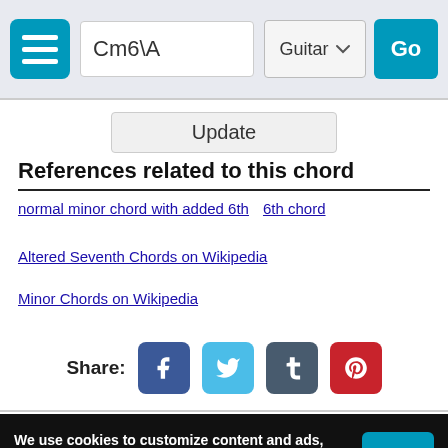Cm6\A  Guitar  Go
Update
References related to this chord
normal minor chord with added 6th   6th chord
Altered Seventh Chords on Wikipedia
Minor Chords on Wikipedia
Share:
We use cookies to customize content and ads, social media features and to evaluate our traffic. Learn more about our privacy policy  Ok